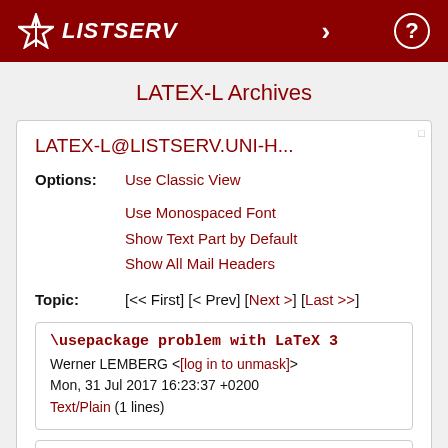LISTSERV
LATEX-L Archives
LATEX-L@LISTSERV.UNI-H...
Options: Use Classic View
Use Monospaced Font
Show Text Part by Default
Show All Mail Headers
Topic: [<< First] [< Prev] [Next >] [Last >>]
\usepackage problem with LaTeX 3
Werner LEMBERG <[log in to unmask]>
Mon, 31 Jul 2017 16:23:37 +0200
Text/Plain (1 lines)
[Not sure whether this is a generic LaTeX 3 problem or